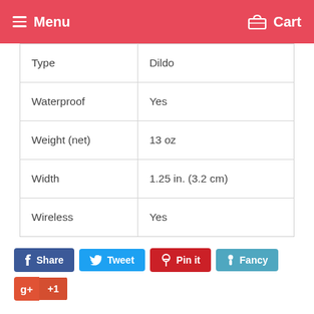Menu   Cart
| Type | Dildo |
| Waterproof | Yes |
| Weight (net) | 13 oz |
| Width | 1.25 in. (3.2 cm) |
| Wireless | Yes |
Share  Tweet  Pin it  Fancy  +1